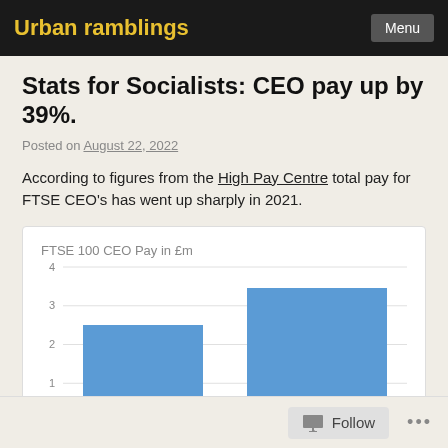Urban ramblings | Menu
Stats for Socialists: CEO pay up by 39%.
Posted on August 22, 2022
According to figures from the High Pay Centre total pay for FTSE CEO's has went up sharply in 2021.
[Figure (bar-chart): FTSE 100 CEO Pay in £m]
Follow ...